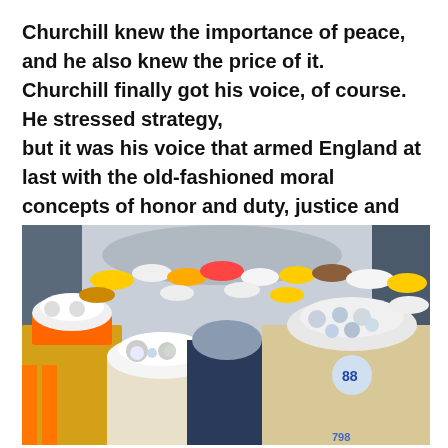Churchill knew the importance of peace, and he also knew the price of it. Churchill finally got his voice, of course. He stressed strategy, but it was his voice that armed England at last with the old-fashioned moral concepts of honor and duty, justice and mercy. Suzanne Fields
[Figure (photo): A crowd of construction workers wearing hard hats and safety vests surrounding a person, likely at a construction site or industrial facility.]